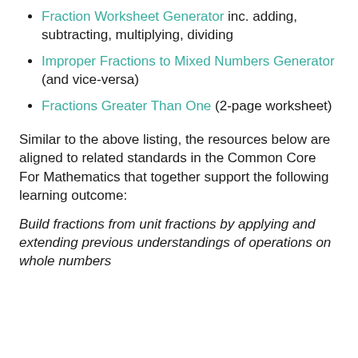Fraction Worksheet Generator inc. adding, subtracting, multiplying, dividing
Improper Fractions to Mixed Numbers Generator (and vice-versa)
Fractions Greater Than One (2-page worksheet)
Similar to the above listing, the resources below are aligned to related standards in the Common Core For Mathematics that together support the following learning outcome:
Build fractions from unit fractions by applying and extending previous understandings of operations on whole numbers